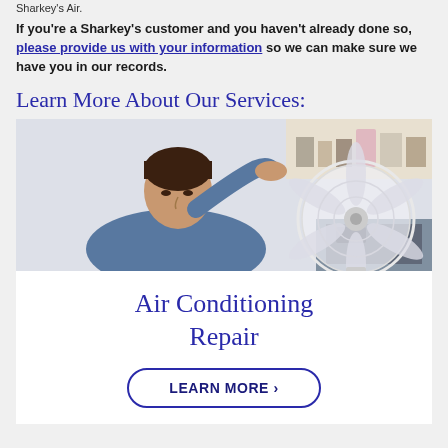Sharkey's Air.
If you're a Sharkey's customer and you haven't already done so, please provide us with your information so we can make sure we have you in our records.
Learn More About Our Services:
[Figure (photo): Man sitting in front of a white electric fan, looking hot and tired, resting his hand on his forehead. Kitchen background with shelves visible.]
Air Conditioning Repair
LEARN MORE ›